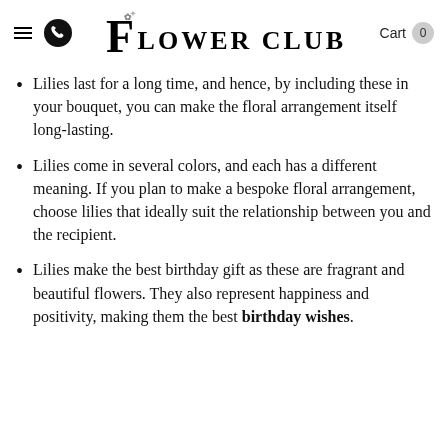FLOWER CLUB — Cart 0
Lilies last for a long time, and hence, by including these in your bouquet, you can make the floral arrangement itself long-lasting.
Lilies come in several colors, and each has a different meaning. If you plan to make a bespoke floral arrangement, choose lilies that ideally suit the relationship between you and the recipient.
Lilies make the best birthday gift as these are fragrant and beautiful flowers. They also represent happiness and positivity, making them the best birthday wishes.